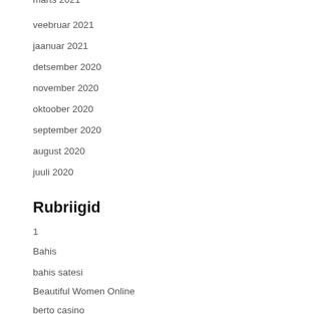märts 2021
veebruar 2021
jaanuar 2021
detsember 2020
november 2020
oktoober 2020
september 2020
august 2020
juuli 2020
Rubriigid
1
Bahis
bahis satesi
Beautiful Women Online
berto casino